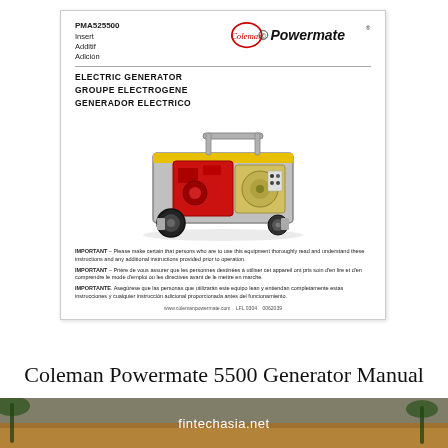[Figure (illustration): Cover page of Coleman Powermate PMA525500 electric generator manual insert, showing the Coleman Powermate brand logo, model number, product titles in English/French/Spanish, a photo of a portable generator, and trilingual important safety notices at the bottom.]
Coleman Powermate 5500 Generator Manual
[Figure (photo): Bottom banner image showing a tropical beach scene with palm trees and the text 'fintechasia.net' overlaid in white.]